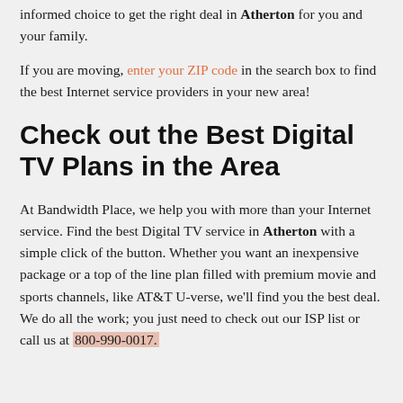informed choice to get the right deal in Atherton for you and your family.
If you are moving, enter your ZIP code in the search box to find the best Internet service providers in your new area!
Check out the Best Digital TV Plans in the Area
At Bandwidth Place, we help you with more than your Internet service. Find the best Digital TV service in Atherton with a simple click of the button. Whether you want an inexpensive package or a top of the line plan filled with premium movie and sports channels, like AT&T U-verse, we'll find you the best deal. We do all the work; you just need to check out our ISP list or call us at 800-990-0017.